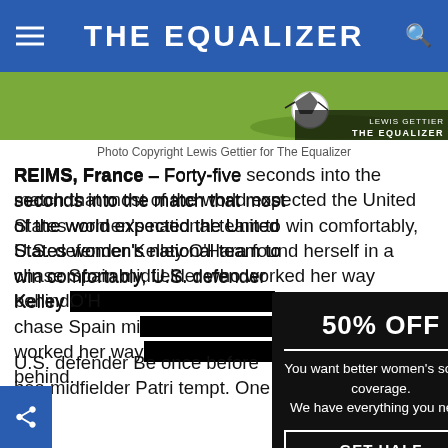THE EQUALIZER
[Figure (photo): Soccer player on green field with ball, photo credit Lewis Gettier / The Equalizer]
Photo Copyright Lewis Gettier for The Equalizer
REIMS, France – Forty-five seconds into the match that most of the world expected the United States women's national team to win comfortably, U.S. defender Kelley [O'Hara found herself in a] chase Spain mi[dfielder who had] worked her way [past her, falling] behind.
U.S. defender Be[cky Sauerbrunn stepped in] once before hea[ding it away while] midfielder Patri[ck Morgan made an at]tempt. One m[ore...]
[Figure (screenshot): Popup ad overlay with black background showing '50% OFF' promotion for The Equalizer women's soccer coverage with 'GET HALF OFF' button]